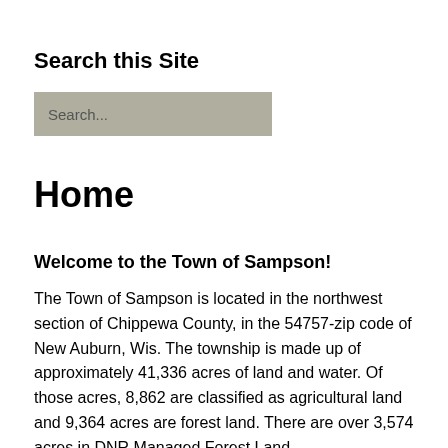Search this Site
[Figure (other): Search input box with placeholder text 'Search...']
Home
Welcome to the Town of Sampson!
The Town of Sampson is located in the northwest section of Chippewa County, in the 54757-zip code of New Auburn, Wis. The township is made up of approximately 41,336 acres of land and water. Of those acres, 8,862 are classified as agricultural land and 9,364 acres are forest land. There are over 3,574 acres in DNR Managed Forest Land